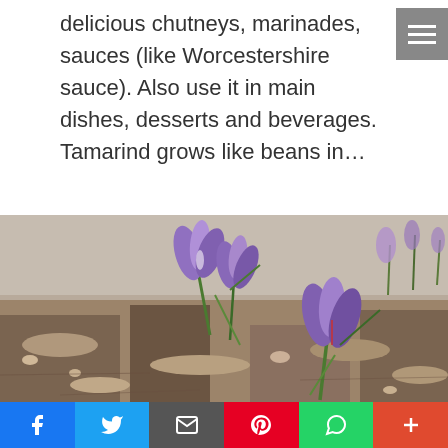delicious chutneys, marinades, sauces (like Worcestershire sauce). Also use it in main dishes, desserts and beverages. Tamarind grows like beans in…
[Figure (photo): Close-up photo of purple saffron crocus flowers growing from dry, rocky soil]